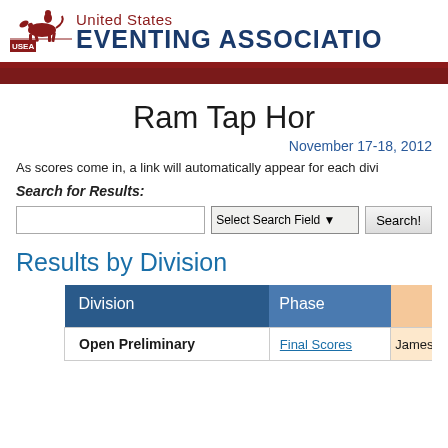United States EVENTING ASSOCIATION
Ram Tap Hor
November 17-18, 2012
As scores come in, a link will automatically appear for each divi
Search for Results:
Results by Division
| Division | Phase |  |
| --- | --- | --- |
| Open Preliminary | Final Scores | James |